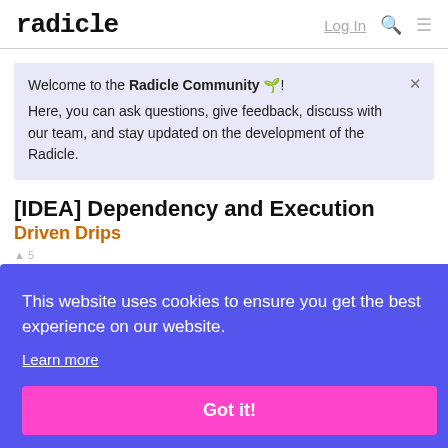radicle  Log In
Welcome to the Radicle Community 🌱! Here, you can ask questions, give feedback, discuss with our team, and stay updated on the development of the Radicle.
[IDEA] Dependency and Execution Driven Drips
This website uses cookies to ensure you get the best experience on our website.
Learn more
Got it!
I had a conversation with someone about why Radicle is trying to achieve long-term and just wan… a few takeaways from the conversation so the…